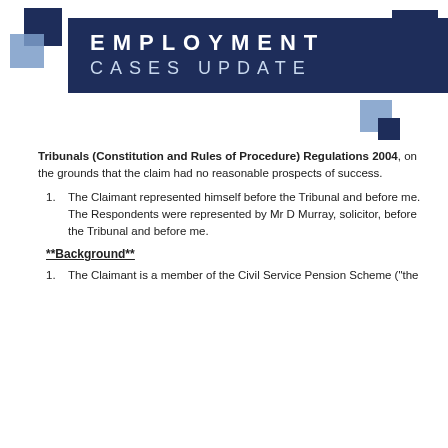[Figure (logo): Employment Cases Update logo banner with decorative blue squares and hamburger menu icon]
Tribunals (Constitution and Rules of Procedure) Regulations 2004, on the grounds that the claim had no reasonable prospects of success.
The Claimant represented himself before the Tribunal and before me. The Respondents were represented by Mr D Murray, solicitor, before the Tribunal and before me.
**Background**
The Claimant is a member of the Civil Service Pension Scheme ("the